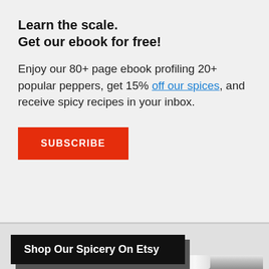Learn the scale.
Get our ebook for free!
Enjoy our 80+ page ebook profiling 20+ popular peppers, get 15% off our spices, and receive spicy recipes in your inbox.
SUBSCRIBE
Shop Our Spicery On Etsy
[Figure (photo): Photo of spice jars in a shop display]